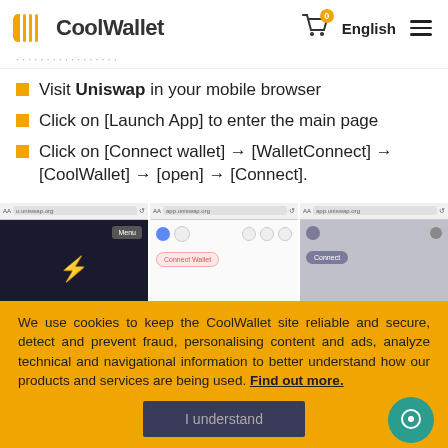CoolWallet
...
Visit Uniswap in your mobile browser
Click on [Launch App] to enter the main page
Click on [Connect wallet] → [WalletConnect] → [CoolWallet] → [open] → [Connect].
[Figure (screenshot): Three mobile screenshots showing Uniswap app: first shows dark screen with Menu button, second shows Connect Wallet dialog, third shows Connect screen.]
We use cookies to keep the CoolWallet site reliable and secure, detect and prevent fraud, personalising content and ads, analyze technical and navigational information to better understand how our products and services are being used. Find out more.
I understand